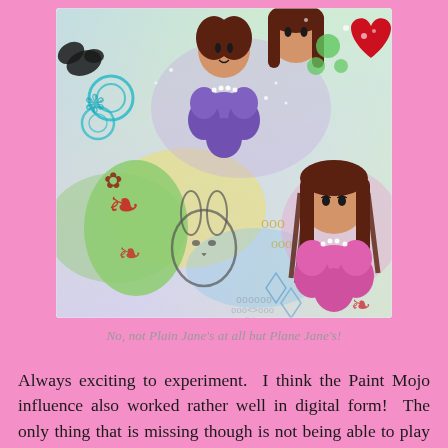[Figure (illustration): A colorful digital artwork featuring cartoon-style girl figures with brown hair and round heads, whimsical flower shapes in purple and pink, decorative elements including a bunny, red heart, green bubbles, ornate floral motifs on Easter egg shapes, painted on a multi-colored pastel background with blues, greens, yellows, and purples.]
No, not Plain Jane's at all but Plane Jane's!
Always exciting to experiment.  I think the Paint Mojo influence also worked rather well in digital form!  The only thing that is missing though is not being able to play with the different textures and thickness.  As such, digital painting does lack the